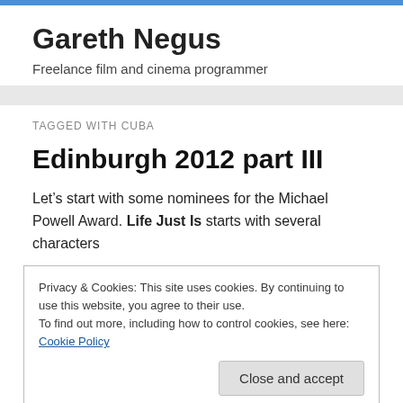Gareth Negus
Freelance film and cinema programmer
TAGGED WITH CUBA
Edinburgh 2012 part III
Let’s start with some nominees for the Michael Powell Award. Life Just Is starts with several characters
Privacy & Cookies: This site uses cookies. By continuing to use this website, you agree to their use.
To find out more, including how to control cookies, see here: Cookie Policy
Close and accept